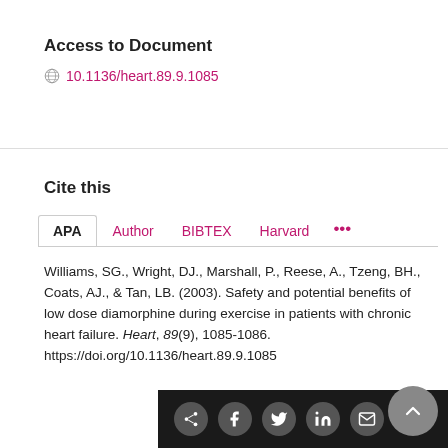Access to Document
10.1136/heart.89.9.1085
Cite this
APA   Author   BIBTEX   Harvard   ...
Williams, SG., Wright, DJ., Marshall, P., Reese, A., Tzeng, BH., Coats, AJ., & Tan, LB. (2003). Safety and potential benefits of low dose diamorphine during exercise in patients with chronic heart failure. Heart, 89(9), 1085-1086. https://doi.org/10.1136/heart.89.9.1085